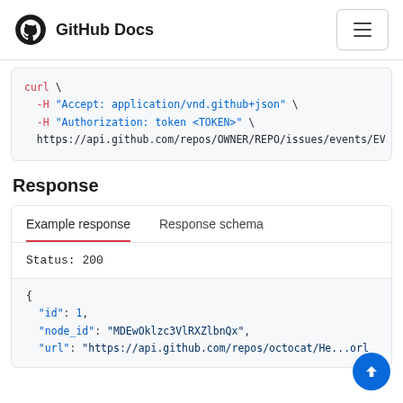GitHub Docs
curl \
  -H "Accept: application/vnd.github+json" \
  -H "Authorization: token <TOKEN>" \
  https://api.github.com/repos/OWNER/REPO/issues/events/EV
Response
Example response	Response schema
Status: 200
{
  "id": 1,
  "node_id": "MDEwOklzc3VlRXZlbnQx",
  "url": "https://api.github.com/repos/octocat/He...